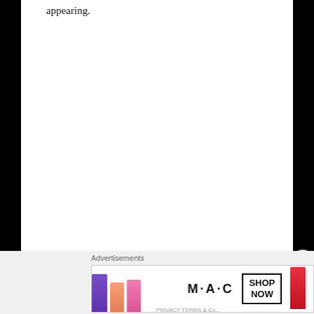appearing.
[Figure (photo): Advertisement banner for MAC cosmetics showing lipsticks in purple, peach, pink, and red colors with MAC logo and SHOP NOW button]
Advertisements